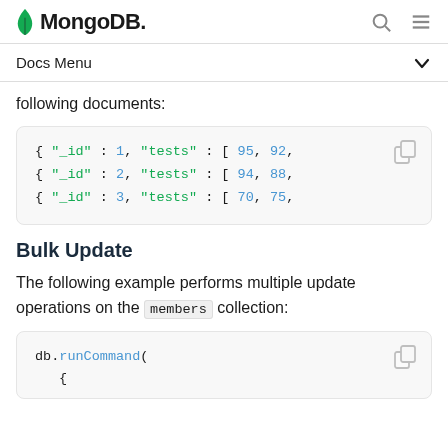MongoDB
Docs Menu
following documents:
[Figure (screenshot): Code block showing three MongoDB documents: { "_id" : 1, "tests" : [ 95, 92, ... }, { "_id" : 2, "tests" : [ 94, 88, ... }, { "_id" : 3, "tests" : [ 70, 75, ... }]
Bulk Update
The following example performs multiple update operations on the members collection:
[Figure (screenshot): Code block showing start of db.runCommand( { ... ) call]